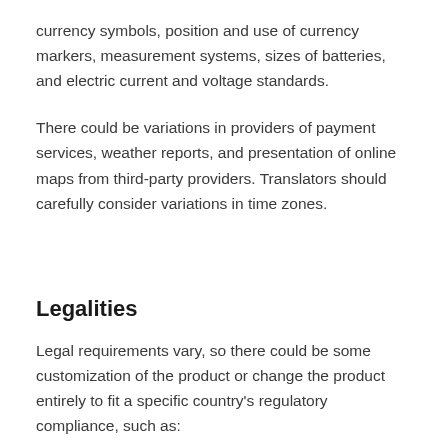currency symbols, position and use of currency markers, measurement systems, sizes of batteries, and electric current and voltage standards.
There could be variations in providers of payment services, weather reports, and presentation of online maps from third-party providers. Translators should carefully consider variations in time zones.
Legalities
Legal requirements vary, so there could be some customization of the product or change the product entirely to fit a specific country's regulatory compliance, such as: